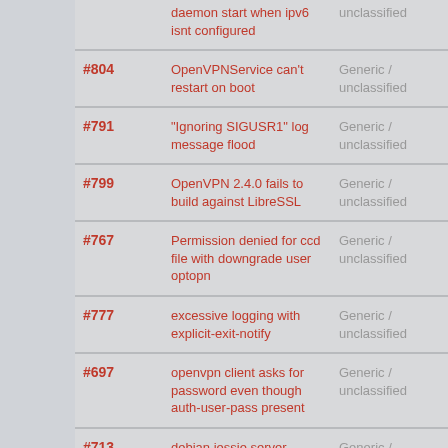| ID | Title | Category | Status | Resolution |
| --- | --- | --- | --- | --- |
|  | daemon start when ipv6 isnt configured | unclassified |  |  |
| #804 | OpenVPNService can't restart on boot | Generic / unclassified | closed | notabug |
| #791 | "Ignoring SIGUSR1" log message flood | Generic / unclassified | closed | fixed |
| #799 | OpenVPN 2.4.0 fails to build against LibreSSL | Generic / unclassified | closed | fixed |
| #767 | Permission denied for ccd file with downgrade user optopn | Generic / unclassified | closed | worksfor |
| #777 | excessive logging with explicit-exit-notify | Generic / unclassified | closed | fixed |
| #697 | openvpn client asks for password even though auth-user-pass present | Generic / unclassified | closed | notabug |
| #713 | debian jessie server- | Generic / | closed | worksf |